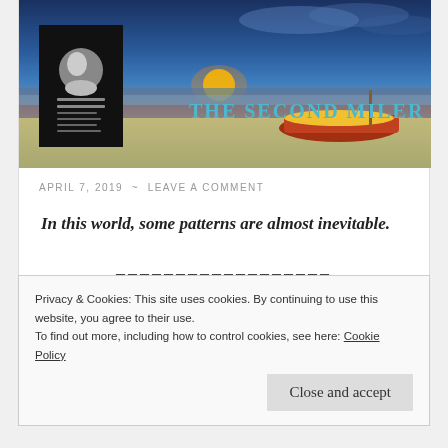[Figure (photo): Website banner image showing a beach at sunset with a boat on the shore, with a book cover overlay on the left showing an author photo, and the site title 'THE SECOND MILER' in cyan/teal text]
APRIL 7, 2019 ~ LEAVE A COMMENT
In this world, some patterns are almost inevitable.
—————————————————
Privacy & Cookies: This site uses cookies. By continuing to use this website, you agree to their use.
To find out more, including how to control cookies, see here: Cookie Policy
Close and accept